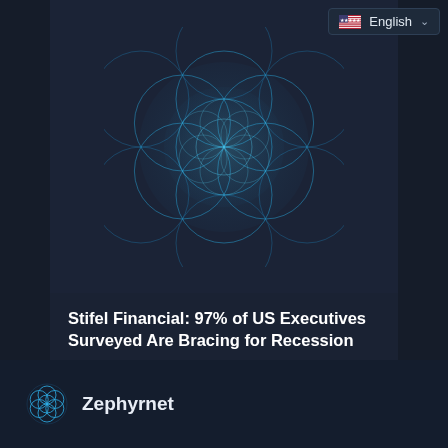[Figure (illustration): A blue geometric flower-of-life / sacred geometry sphere pattern made of overlapping circles, glowing cyan/blue on a dark navy background, with an English language selector in the top right corner]
Stifel Financial: 97% of US Executives Surveyed Are Bracing for Recession
BLOCKCHAIN | August 22, 2022
[Figure (logo): Zephyrnet logo: a small blue geometric flower-of-life circle icon followed by the text Zephyrnet in white bold]